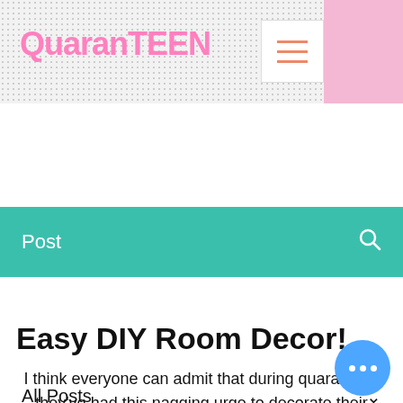QuaranTEEN
Post
All Posts
Hannah Forsythe · Jul 2, 2020 · 4 min
Easy DIY Room Decor!
I think everyone can admit that during quarantine, they've had this nagging urge to decorate their whole room and make it Pinterest worthy. I am